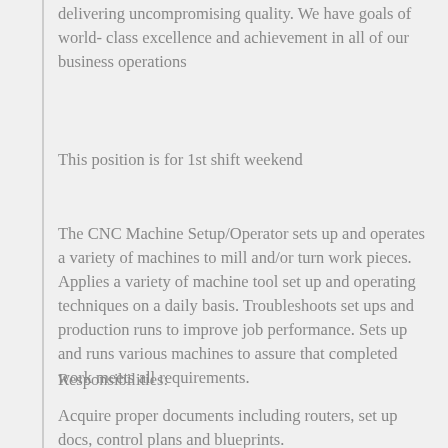delivering uncompromising quality. We have goals of world- class excellence and achievement in all of our business operations
This position is for 1st shift weekend
The CNC Machine Setup/Operator sets up and operates a variety of machines to mill and/or turn work pieces. Applies a variety of machine tool set up and operating techniques on a daily basis. Troubleshoots set ups and production runs to improve job performance. Sets up and runs various machines to assure that completed work meets all requirements.
Responsibilities:
Acquire proper documents including routers, set up docs, control plans and blueprints.
Sets up CNC machines including but not limited to 3, 4 or